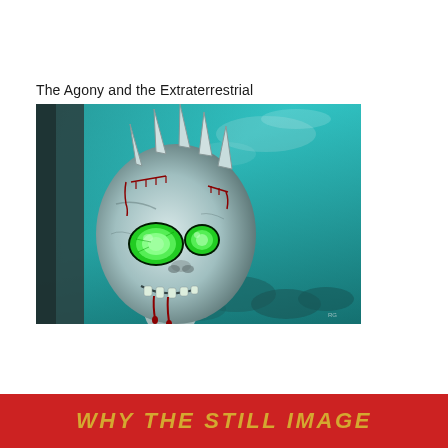The Agony and the Extraterrestrial
[Figure (illustration): Painting of an alien creature with a large round head, glowing green eyes, spikes on top of its head, red stitches or wounds, and blood dripping from its mouth. The background is teal/turquoise with smoky or cloudy textures. The alien has a pale grey-blue skin tone and appears distressed or zombie-like.]
WHY THE STILL IMAGE